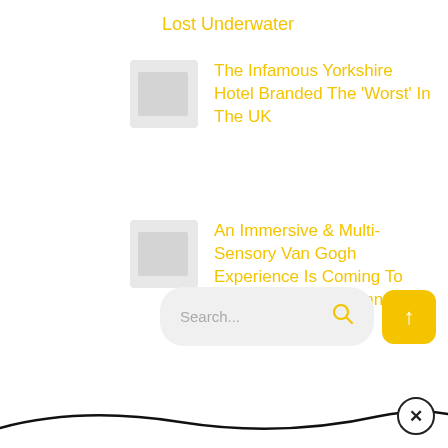Lost Underwater
The Infamous Yorkshire Hotel Branded The 'Worst' In The UK
An Immersive & Multi-Sensory Van Gogh Experience Is Coming To Yorkshire This Autumn
Search...
[Figure (other): Scroll-to-top button (yellow square with up arrow) and wave/close button SVG at page bottom]